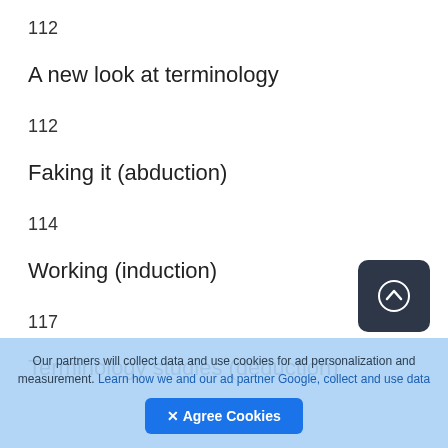112
A new look at terminology
112
Faking it (abduction)
114
Working (induction)
117
Terminology studies (deduction)